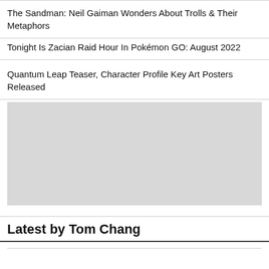The Sandman: Neil Gaiman Wonders About Trolls & Their Metaphors
Tonight Is Zacian Raid Hour In Pokémon GO: August 2022
Quantum Leap Teaser, Character Profile Key Art Posters Released
[Figure (photo): Large gray placeholder image block]
Latest by Tom Chang